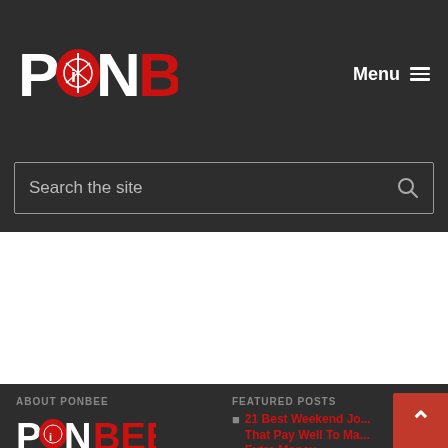[Figure (logo): PONBEE logo with white P and N letters and red BEE letters, with a cartoon bee mascot inside the O]
Menu ≡
Search the site
ABOUT PONBEE
[Figure (logo): PONBEE logo bottom version with white P and N and red BEE]
FEATURED POSTS
21 Best Weekend Jobs That Pay Well To Make Extra Money